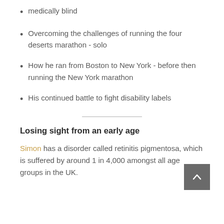medically blind
Overcoming the challenges of running the four deserts marathon - solo
How he ran from Boston to New York - before then running the New York marathon
His continued battle to fight disability labels
Losing sight from an early age
Simon has a disorder called retinitis pigmentosa, which is suffered by around 1 in 4,000 amongst all age groups in the UK.